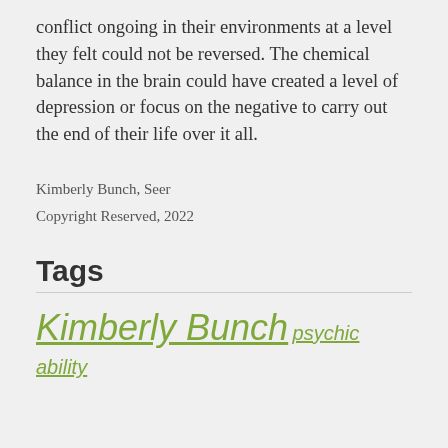conflict ongoing in their environments at a level they felt could not be reversed. The chemical balance in the brain could have created a level of depression or focus on the negative to carry out the end of their life over it all.
Kimberly Bunch, Seer
Copyright Reserved, 2022
Tags
Kimberly Bunch  psychic ability